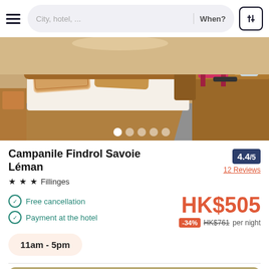City, hotel, ...   When?
[Figure (photo): Hotel room photo showing a neatly made bed with pillows, a wooden desk and chairs in the background, and a red/pink chair visible]
Campanile Findrol Savoie Léman
4.4/5
12 Reviews
★★★  Fillinges
Free cancellation
Payment at the hotel
HK$505
-34%  HK$761 per night
11am - 5pm
[Figure (photo): Partial view of a second hotel listing image showing what appears to be a hotel room with green accent wall]